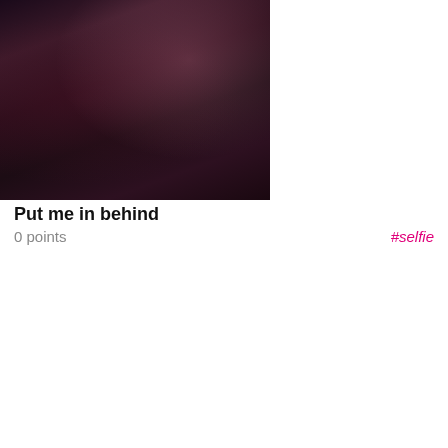[Figure (photo): Person in dark clothing posing on pink fluffy surface with stuffed toys in background]
Put me in behind
0 points
#selfie
[Figure (photo): Advertisement block with 'Powered By ExoClick' header and photo of blonde woman]
Powered By ExoClick